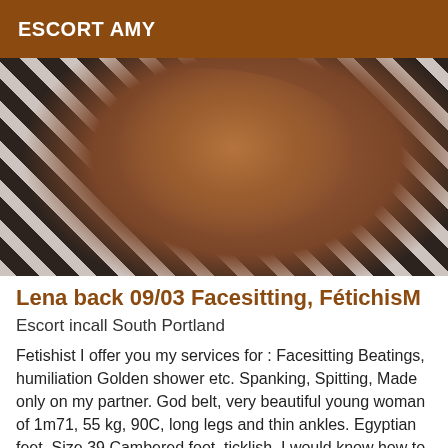ESCORT AMY
[Figure (photo): Close-up photo of a person's leg/ankle against a zebra-print textile background]
Lena back 09/03 Facesitting, FétichisM
Escort incall South Portland
Fetishist I offer you my services for : Facesitting Beatings, humiliation Golden shower etc. Spanking, Spitting, Made only on my partner. God belt, very beautiful young woman of 1m71, 55 kg, 90C, long legs and thin ankles. Egyptian feet. Size 39 Cambered foot, ticklish. I would know how to meet your expectations in